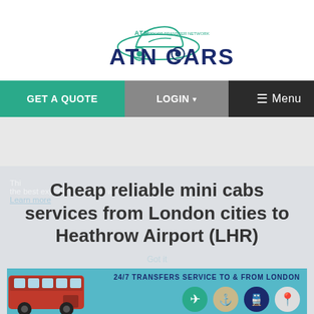[Figure (logo): ATN Cars - Airport Transfer Network logo with car illustration and green/dark blue text]
GET A QUOTE   LOGIN ▾   ☰ Menu
Cheap reliable mini cabs services from London cities to Heathrow Airport (LHR)
[Figure (infographic): 24/7 TRANSFERS SERVICE TO & FROM LONDON banner with icons: airplane, ship, train, map pin, and a London bus on the left side]